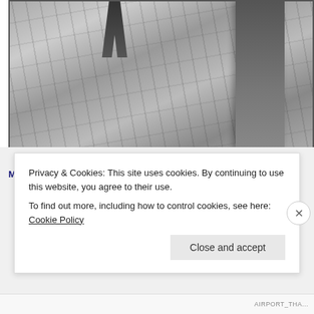[Figure (photo): Black and white photograph showing a man walking on a paved sidewalk with a structural pillar/column on the right side. The scene is under or near a U3 train structure at Vorsetzen carriage area in Hamburg.]
Man walking to his car, U3 train above him, Vorsetzen carria...
Privacy & Cookies: This site uses cookies. By continuing to use this website, you agree to their use.
To find out more, including how to control cookies, see here: Cookie Policy
Close and accept